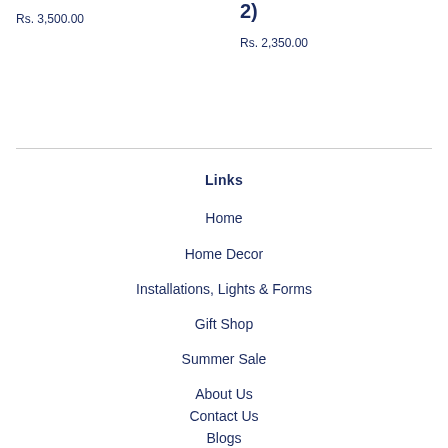Rs. 3,500.00
2)
Rs. 2,350.00
Links
Home
Home Decor
Installations, Lights & Forms
Gift Shop
Summer Sale
About Us
Contact Us
Blogs